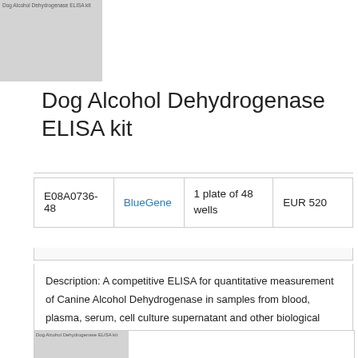[Figure (photo): Product image placeholder for Dog Alcohol Dehydrogenase ELISA kit with label text]
Dog Alcohol Dehydrogenase ELISA kit
| E08A0736-48 | BlueGene | 1 plate of 48 wells | EUR 520 |
| --- | --- | --- | --- |
Description: A competitive ELISA for quantitative measurement of Canine Alcohol Dehydrogenase in samples from blood, plasma, serum, cell culture supernatant and other biological fluids. This is a high quality ELISA kit developped for optimal performance with samples from the particular species.
[Figure (photo): Second product image placeholder at bottom of page]